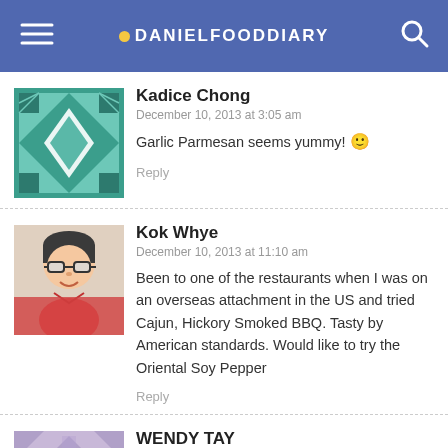DANIELFOODDIARY
Kadice Chong
December 10, 2013 at 3:05 am
Garlic Parmesan seems yummy! 🙂
Reply
Kok Whye
December 10, 2013 at 11:10 am
Been to one of the restaurants when I was on an overseas attachment in the US and tried Cajun, Hickory Smoked BBQ. Tasty by American standards. Would like to try the Oriental Soy Pepper
Reply
WENDY TAY
December 10, 2013 at 11:30 am
garlic Parmesan. I think I remembered my family enjoyed this in the states.